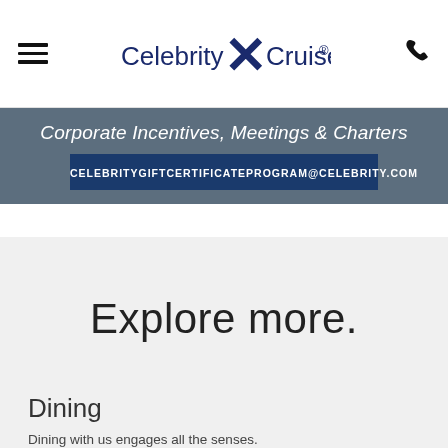Celebrity Cruises®
Corporate Incentives, Meetings & Charters
CELEBRITYGIFTCERTIFICATEPROGRAM@CELEBRITY.COM
Explore more.
Dining
Dining with us engages all the senses.